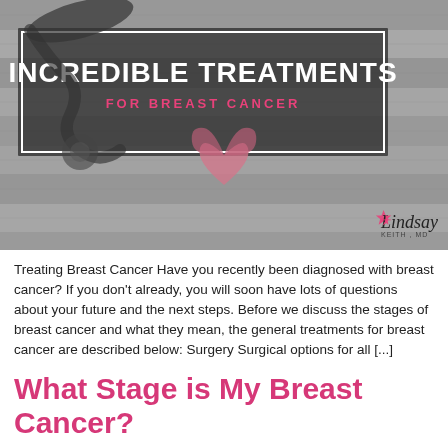[Figure (photo): Hero image of a stethoscope and pink breast cancer ribbon on a grey wooden background, with overlay text box containing 'INCREDIBLE TREATMENTS FOR BREAST CANCER' and a Lindsay logo in the bottom right corner.]
Treating Breast Cancer Have you recently been diagnosed with breast cancer? If you don't already, you will soon have lots of questions about your future and the next steps. Before we discuss the stages of breast cancer and what they mean, the general treatments for breast cancer are described below: Surgery Surgical options for all [...]
What Stage is My Breast Cancer?